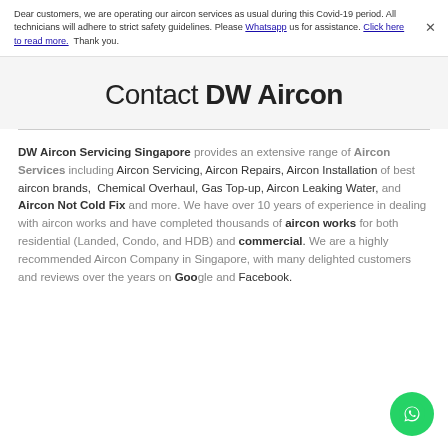Dear customers, we are operating our aircon services as usual during this Covid-19 period. All technicians will adhere to strict safety guidelines. Please Whatsapp us for assistance. Click here to read more. Thank you.
Contact DW Aircon
DW Aircon Servicing Singapore provides an extensive range of Aircon Services including Aircon Servicing, Aircon Repairs, Aircon Installation of best aircon brands, Chemical Overhaul, Gas Top-up, Aircon Leaking Water, and Aircon Not Cold Fix and more. We have over 10 years of experience in dealing with aircon works and have completed thousands of aircon works for both residential (Landed, Condo, and HDB) and commercial. We are a highly recommended Aircon Company in Singapore, with many delighted customers and reviews over the years on Google and Facebook.